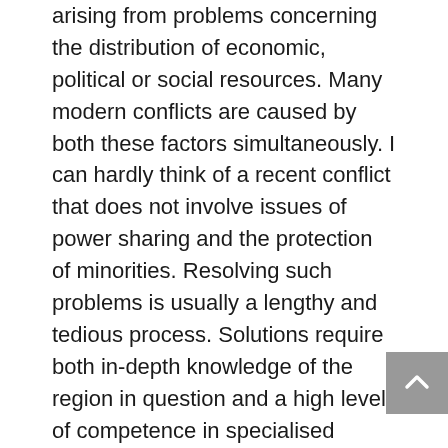arising from problems concerning the distribution of economic, political or social resources. Many modern conflicts are caused by both these factors simultaneously. I can hardly think of a recent conflict that does not involve issues of power sharing and the protection of minorities. Resolving such problems is usually a lengthy and tedious process. Solutions require both in-depth knowledge of the region in question and a high level of competence in specialised areas. Switzerland has therefore decided to deepen its expertise in the fields of constitutional law, decentralisation, power sharing and minority protection, and to increase cooperation with networks of experts outside the federal administration. As a result, we have succeeded in making a useful contribution to solving a number of recent conflicts. Let me give you a few examples. ƒ In 2000, at the request of the transitional government of Somalia, Switzerland set up a working group which has since